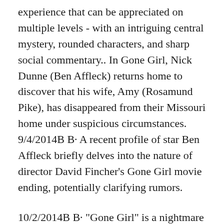experience that can be appreciated on multiple levels - with an intriguing central mystery, rounded characters, and sharp social commentary.. In Gone Girl, Nick Dunne (Ben Affleck) returns home to discover that his wife, Amy (Rosamund Pike), has disappeared from their Missouri home under suspicious circumstances. 9/4/2014B B· A recent profile of star Ben Affleck briefly delves into the nature of director David Fincher's Gone Girl movie ending, potentially clarifying rumors.
10/2/2014B B· "Gone Girl" is a nightmare of love gone cold and a relationship gone south, coupled with an elaborate revenge fantasy that both exploits and reclaims sexist images and